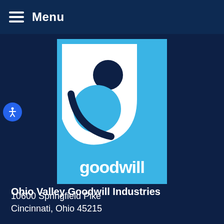Menu
[Figure (logo): Goodwill Industries logo: blue square with white stylized 'g' forming a smiling face, with 'goodwill' text below in white on blue background]
Ohio Valley Goodwill Industries
10600 Springfield Pike
Cincinnati, Ohio 45215